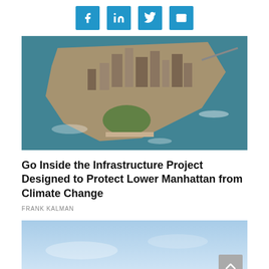[Figure (other): Social sharing buttons: Facebook, LinkedIn, Twitter, Email]
[Figure (photo): Aerial photograph of Lower Manhattan surrounded by water, showing skyscrapers and the tip of the island]
Go Inside the Infrastructure Project Designed to Protect Lower Manhattan from Climate Change
FRANK KALMAN
[Figure (photo): Light blue sky photo, partially visible, with a scroll-to-top button in the bottom right corner]